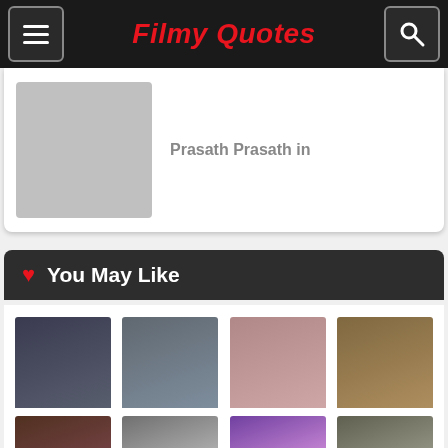Filmy Quotes
[Figure (photo): Partial profile card with grey placeholder photo and partial text 'Prasath Prasath in']
You May Like
[Figure (photo): Photo of Krishna Abhishek]
Krishna Abhishek
[Figure (photo): Photo of Vindu Dara Singh]
Vindu Dara Singh
[Figure (photo): Photo of Tiku Talsania]
Tiku Talsania
[Figure (photo): Photo of Rajpal Yadav]
Rajpal Yadav
[Figure (photo): Partial bottom row with four more celebrity photos (cropped)]